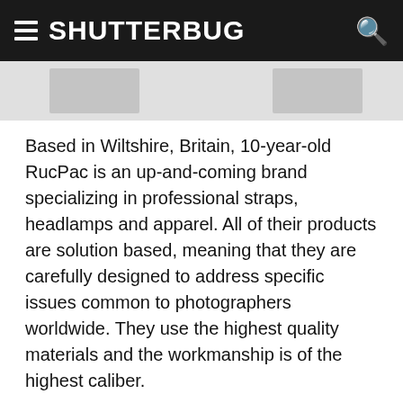SHUTTERBUG
[Figure (screenshot): Partial thumbnail images visible at top of page below header bar]
Based in Wiltshire, Britain, 10-year-old RucPac is an up-and-coming brand specializing in professional straps, headlamps and apparel. All of their products are solution based, meaning that they are carefully designed to address specific issues common to photographers worldwide. They use the highest quality materials and the workmanship is of the highest caliber.
The RucPac Slide Camera Strap  is over-engineered, and I mean that in a positive, complimentary way. The strap material is the now-familiar seatbelt type and the hardware, made of Polyoxymethylene